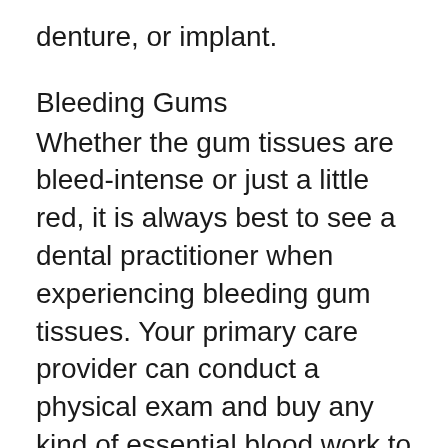denture, or implant.
Bleeding Gums
Whether the gum tissues are bleed-intense or just a little red, it is always best to see a dental practitioner when experiencing bleeding gum tissues. Your primary care provider can conduct a physical exam and buy any kind of essential blood work to establish what is triggering the blood loss gums. Treatment will depend on the problem. Hemorrhaging periodontals can be a indicator of a much more serious underlying trouble. If you have hemorrhaging gums as well as your dental professional can not discover a reason, you can attempt a natural method such as cleaning your teeth with an electrical tooth brush or an